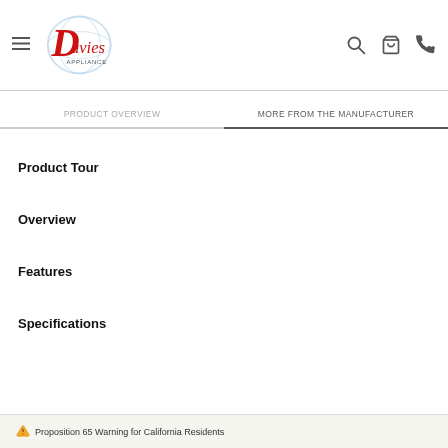Davies Appliance — navigation header with menu, logo, search, cart, phone icons
PRODUCT OVERVIEW | MORE FROM THE MANUFACTURER
Product Tour
Overview
Features
Specifications
⚠ Proposition 65 Warning for California Residents